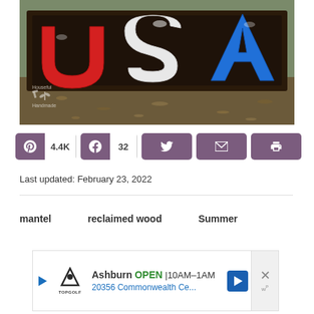[Figure (photo): Photo of a handmade wooden sign with colorful block letters (red, white, blue) spelling USA on a dark stained wood frame, placed on the ground outdoors with leaves visible. Watermark logo in bottom left reads 'Houseful Handmade'.]
4.4K  32
Last updated: February 23, 2022
mantel
reclaimed wood
Summer
[Figure (other): Advertisement banner: Ashburn OPEN 10AM-1AM, 20356 Commonwealth Ce... TopGolf logo. Blue navigation arrow icon on right. Close button (X) on far right.]